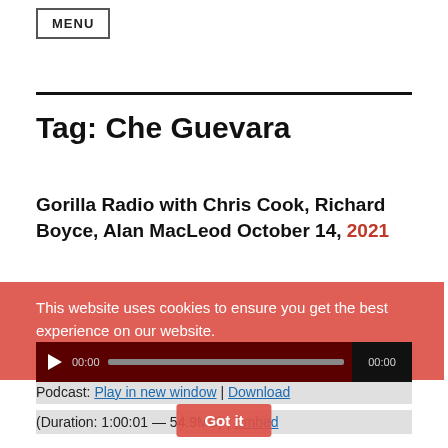MENU
Tag: Che Guevara
Gorilla Radio with Chris Cook, Richard Boyce, Alan MacLeod October 14, 2021
This website uses cookies to ensure you get the best experience on our website. Learn more
[Figure (other): Audio player widget showing play button, time 00:00, progress bar, and end time 00:00]
Got it
Podcast: Play in new window | Download
(Duration: 1:00:01 — 54.9MB) | Embed